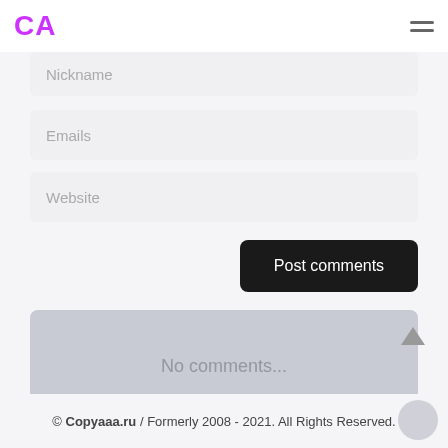CA
Nickname
Emails
Website
Post comments
No comments...
© Copyaaa.ru / Formerly 2008 - 2021. All Rights Reserved.